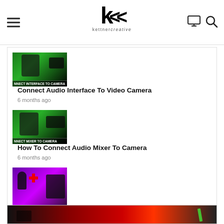kettner creative – navigation header with logo, hamburger menu, monitor icon, search icon
[Figure (screenshot): Thumbnail for 'Connect Audio Interface To Video Camera' – green background with man and camera, text 'NNECT INTERFACE TO CAMERA']
Connect Audio Interface To Video Camera
6 months ago
[Figure (screenshot): Thumbnail for 'How To Connect Audio Mixer To Camera' – green background with man and audio mixer, text 'NNECT MIXER TO CAMERA']
How To Connect Audio Mixer To Camera
6 months ago
[Figure (screenshot): Thumbnail for 'Rode Rodecaster Pro & Shure MV7 | Setup Guide & Tutorial' – purple/magenta background with microphone and mixer, red plus sign, text 'SETUP GUIDE']
Rode Rodecaster Pro & Shure MV7 | Setup Guide & Tutorial
9 months ago
[Figure (screenshot): Partial bottom image – red and black graphic, partially cropped]